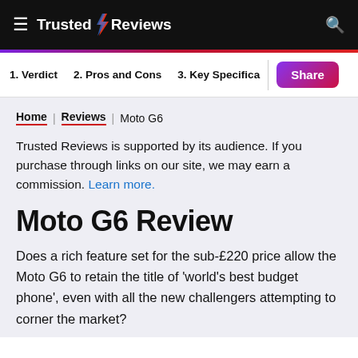Trusted Reviews
1. Verdict  2. Pros and Cons  3. Key Specifica  Share
Home | Reviews | Moto G6
Trusted Reviews is supported by its audience. If you purchase through links on our site, we may earn a commission. Learn more.
Moto G6 Review
Does a rich feature set for the sub-£220 price allow the Moto G6 to retain the title of 'world's best budget phone', even with all the new challengers attempting to corner the market?